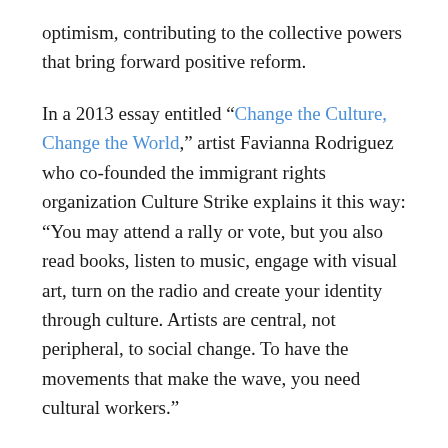optimism, contributing to the collective powers that bring forward positive reform.
In a 2013 essay entitled “Change the Culture, Change the World,” artist Favianna Rodriguez who co-founded the immigrant rights organization Culture Strike explains it this way: “You may attend a rally or vote, but you also read books, listen to music, engage with visual art, turn on the radio and create your identity through culture. Artists are central, not peripheral, to social change. To have the movements that make the wave, you need cultural workers.”
When was the last time you were changed by art? Were you so moved or angered by it that you had to share or hold on to it? We at ARTDEX know exactly